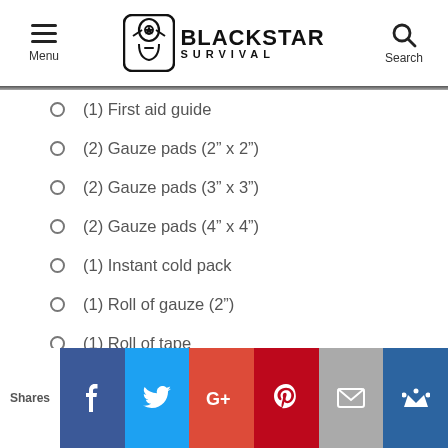Menu | BLACKSTAR SURVIVAL | Search
(1) First aid guide
(2) Gauze pads (2” x 2”)
(2) Gauze pads (3” x 3”)
(2) Gauze pads (4” x 4”)
(1) Instant cold pack
(1) Roll of gauze (2”)
(1) Roll of tape
Shares | Facebook | Twitter | Google+ | Pinterest | Email | Crown